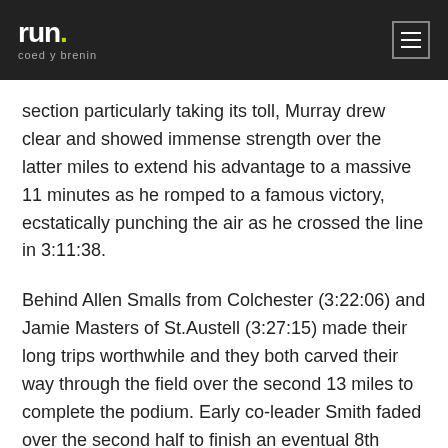run. coed y brenin
section particularly taking its toll, Murray drew clear and showed immense strength over the latter miles to extend his advantage to a massive 11 minutes as he romped to a famous victory, ecstatically punching the air as he crossed the line in 3:11:38.
Behind Allen Smalls from Colchester (3:22:06) and Jamie Masters of St.Austell (3:27:15) made their long trips worthwhile and they both carved their way through the field over the second 13 miles to complete the podium. Early co-leader Smith faded over the second half to finish an eventual 8th place.